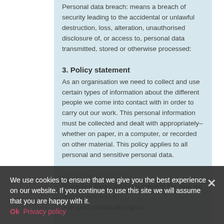Personal data breach: means a breach of security leading to the accidental or unlawful destruction, loss, alteration, unauthorised disclosure of, or access to, personal data transmitted, stored or otherwise processed:
3. Policy statement
As an organisation we need to collect and use certain types of information about the different people we come into contact with in order to carry out our work. This personal information must be collected and dealt with appropriately– whether on paper, in a computer, or recorded on other material. This policy applies to all personal and sensitive personal data. [partially obscured] Data Protection Regulation in respect of the data we hold on individuals:
• respect individuals' rights:
We use cookies to ensure that we give you the best experience on our website. If you continue to use this site we will assume that you are happy with it. Ok Privacy policy